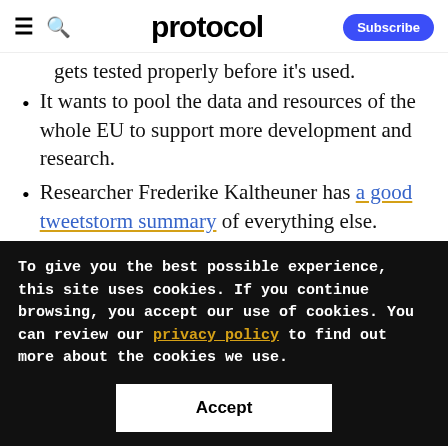protocol — Subscribe
gets tested properly before it's used.
It wants to pool the data and resources of the whole EU to support more development and research.
Researcher Frederike Kaltheuner has a good tweetstorm summary of everything else.
To give you the best possible experience, this site uses cookies. If you continue browsing, you accept our use of cookies. You can review our privacy policy to find out more about the cookies we use.
Accept